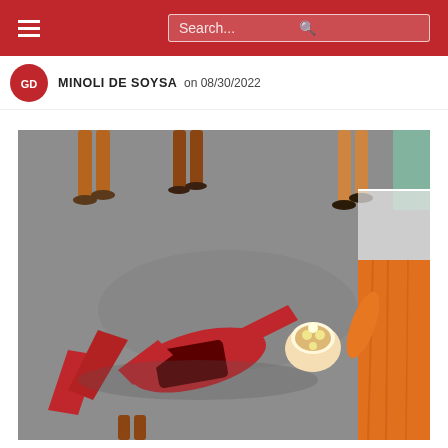Search...
MINOLI DE SOYSA on 08/30/2022
[Figure (photo): A person in a red body paint costume lying on a street pavement, surrounded by onlookers. A person in orange robes stands to the right. The person on the ground wears dark shorts and has a decorative headpiece.]